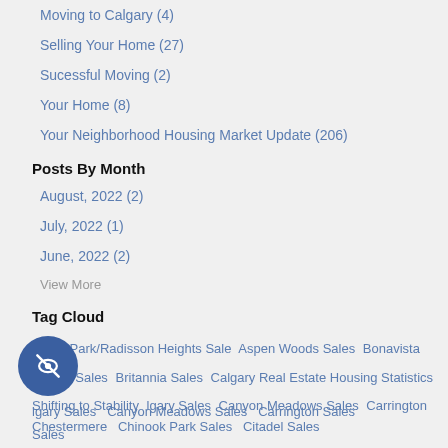Moving to Calgary  (4)
Selling Your Home  (27)
Sucessful Moving  (2)
Your Home  (8)
Your Neighborhood Housing Market Update  (206)
Posts By Month
August, 2022  (2)
July, 2022  (1)
June, 2022  (2)
View More
Tag Cloud
Albert Park/Radisson Heights Sale   Aspen Woods Sales   Bonavista Downs Sales   Britannia Sales   Calgary Real Estate Housing Statistics Shifting to Stability   Calgary Sales   Canyon Meadows Sales   Carrington Sales   Chestermere   Chinook Park Sales   Citadel Sales